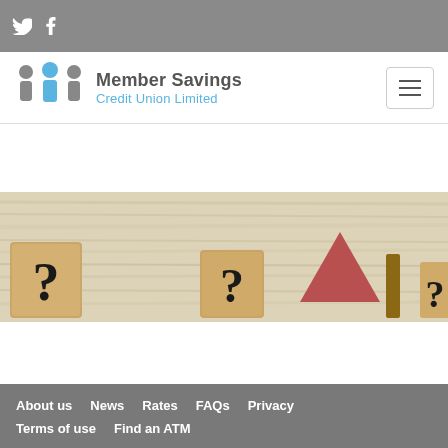Member Savings Credit Union Limited — top navigation bar with Twitter and Facebook icons
[Figure (logo): Member Savings Credit Union Limited logo with three person silhouettes (two grey, one blue in center) and text 'Member Savings Credit Union Limited']
[Figure (photo): Wooden blocks with question marks on a light wood surface, with a red triangle house shape and brown post visible among the blocks]
About us  News  Rates  FAQs  Privacy  Terms of use  Find an ATM